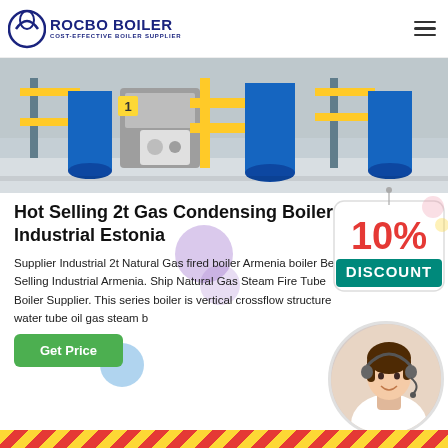ROCBO BOILER — COST-EFFECTIVE BOILER SUPPLIER
[Figure (photo): Industrial boiler room with yellow piping, blue cylindrical tanks, and mechanical equipment on a factory floor.]
Hot Selling 2t Gas Condensing Boiler Industrial Estonia
[Figure (infographic): 10% DISCOUNT badge with red and teal text on a tag-shaped background.]
Supplier Industrial 2t Natural Gas fired boiler Armenia boiler Best Selling Industrial Armenia. Ship Natural Gas Steam Fire Tube Boiler Supplier. This series boiler is vertical crossflow structure water tube oil gas steam b
[Figure (photo): Customer service agent woman with headset smiling, shown in a circular crop.]
Get Price